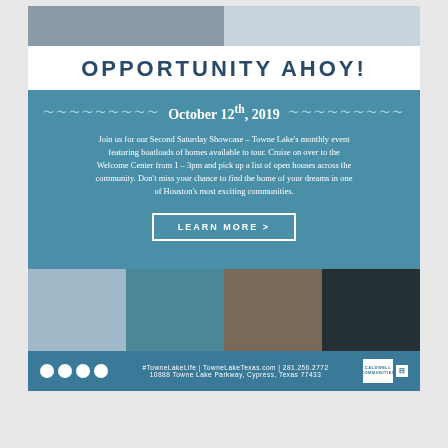[Figure (photo): Top banner strip with two photos side by side]
OPPORTUNITY AHOY!
October 12th, 2019
Join us for our Second Saturday Showcase – Towne Lake's monthly event featuring boatloads of homes available to tour. Cruise on over to the Welcome Center from 1 – 3pm and pick up a list of open houses across the community. Don't miss your chance to find the home of your dreams in one of Houston's most exciting communities.
LEARN MORE >
[Figure (photo): Four lifestyle photos in a horizontal strip: fishing, child swimming, luxury home, water skiing]
#TowneLakeLife | TowneLakeTexas.com | 281.256.2772  10888 Towne Lake Parkway, Cypress, Texas 77433